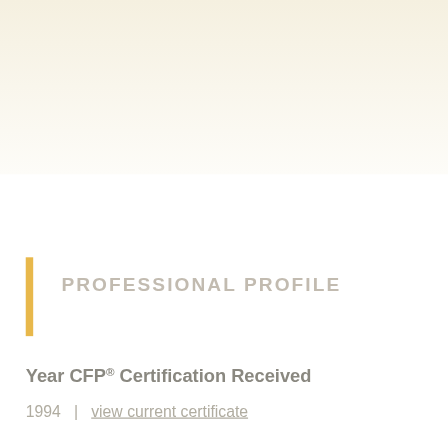[Figure (illustration): Faded background with person or logo image in upper portion of page]
PROFESSIONAL PROFILE
Year CFP® Certification Received
1994   |   view current certificate
Planning Services Offered
Investment Planning
Insurance Planning
Long-term Care
Retirement Planning
Tax Planning
Employee and Employer Plan Benefits